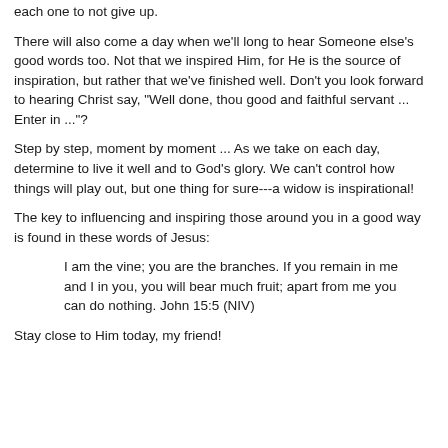each one to not give up.
There will also come a day when we'll long to hear Someone else's good words too. Not that we inspired Him, for He is the source of inspiration, but rather that we've finished well. Don't you look forward to hearing Christ say, "Well done, thou good and faithful servant ... Enter in ..."?
Step by step, moment by moment ... As we take on each day, determine to live it well and to God's glory. We can't control how things will play out, but one thing for sure---a widow is inspirational!
The key to influencing and inspiring those around you in a good way is found in these words of Jesus:
I am the vine; you are the branches. If you remain in me and I in you, you will bear much fruit; apart from me you can do nothing. John 15:5 (NIV)
Stay close to Him today, my friend!